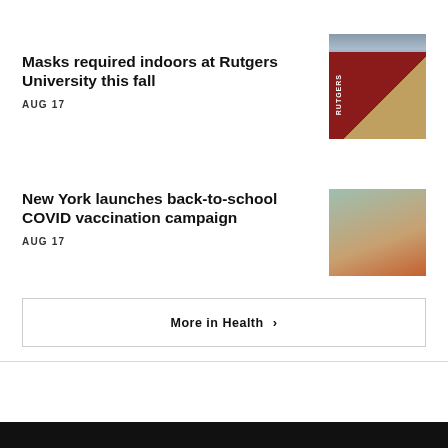[Figure (photo): Partial image of vaccine vials at top right]
Masks required indoors at Rutgers University this fall
AUG 17
[Figure (photo): Rutgers University banner signs on a sunny day]
New York launches back-to-school COVID vaccination campaign
AUG 17
[Figure (photo): Young person wearing a mask receiving a COVID vaccine injection]
More in Health ›